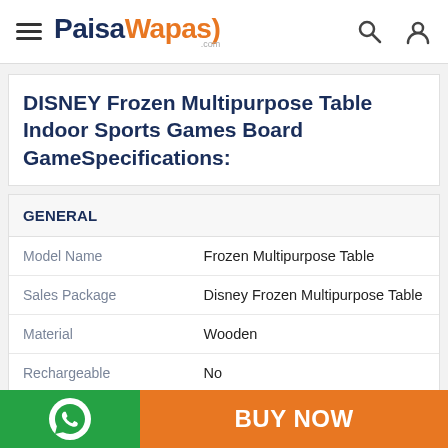PaisaWapas.com
DISNEY Frozen Multipurpose Table Indoor Sports Games Board GameSpecifications:
|  |  |
| --- | --- |
| GENERAL |  |
| Model Name | Frozen Multipurpose Table |
| Sales Package | Disney Frozen Multipurpose Table |
| Material | Wooden |
| Rechargeable | No |
| Number of Batteries for Toy | 0 |